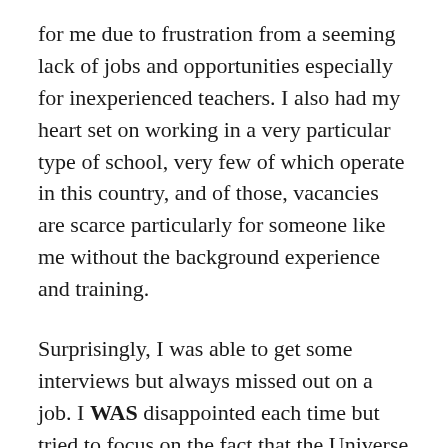for me due to frustration from a seeming lack of jobs and opportunities especially for inexperienced teachers. I also had my heart set on working in a very particular type of school, very few of which operate in this country, and of those, vacancies are scarce particularly for someone like me without the background experience and training.
Surprisingly, I was able to get some interviews but always missed out on a job. I WAS disappointed each time but tried to focus on the fact that the Universe was leading me to something even better. I got clear about exactly every detail I wanted, even if I didn't know how it would be